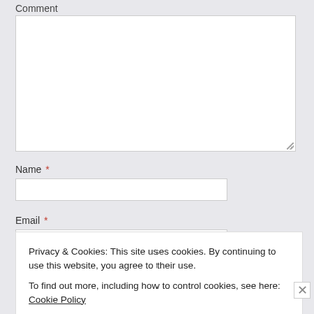Comment
[Figure (other): Empty comment textarea input box with resize handle at bottom-right]
Name *
[Figure (other): Empty Name text input field]
Email *
[Figure (other): Empty Email text input field]
Privacy & Cookies: This site uses cookies. By continuing to use this website, you agree to their use.
To find out more, including how to control cookies, see here: Cookie Policy
Close and accept